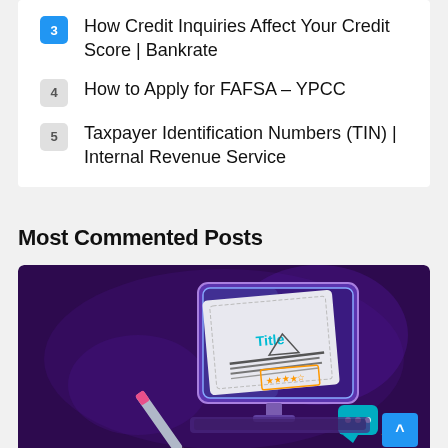3 How Credit Inquiries Affect Your Credit Score | Bankrate
4 How to Apply for FAFSA – YPCC
5 Taxpayer Identification Numbers (TIN) | Internal Revenue Service
Most Commented Posts
[Figure (illustration): 3D isometric illustration of a computer monitor showing a document with 'Title' text, a pen/pencil, and decorative elements on a dark purple background. A scroll-to-top button (blue, with up-arrow) is in the bottom right corner.]